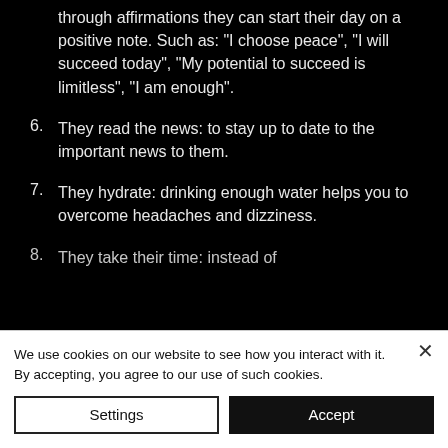through affirmations they can start their day on a positive note. Such as: "I choose peace", "I will succeed today", "My potential to succeed is limitless", "I am enough".
6. They read the news: to stay up to date to the important news to them.
7. They hydrate: drinking enough water helps you to overcome headaches and dizziness.
8. They take their time: instead of
We use cookies on our website to see how you interact with it. By accepting, you agree to our use of such cookies.